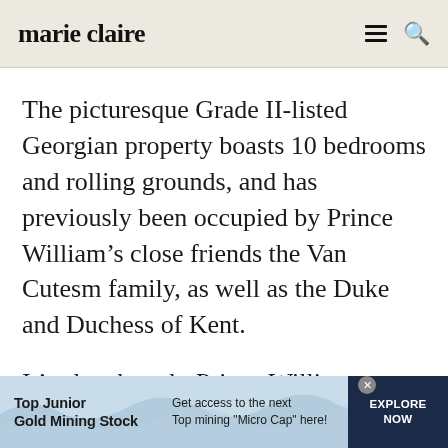marie claire
The picturesque Grade II-listed Georgian property boasts 10 bedrooms and rolling grounds, and has previously been occupied by Prince William’s close friends the Van Cutesm family, as well as the Duke and Duchess of Kent.
It’s also thought Prince William spent time there as a child.
[Figure (other): Advertisement banner: Top Junior Gold Mining Stock — Get access to the next Top mining "Micro Cap" here! EXPLORE NOW]